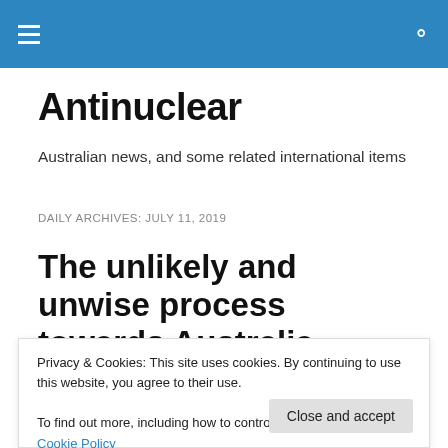Antinuclear [hamburger menu and search icon]
Antinuclear
Australian news, and some related international items
DAILY ARCHIVES: JULY 11, 2019
The unlikely and unwise process towards Australia
Privacy & Cookies: This site uses cookies. By continuing to use this website, you agree to their use.
To find out more, including how to control cookies, see here: Cookie Policy
Close and accept